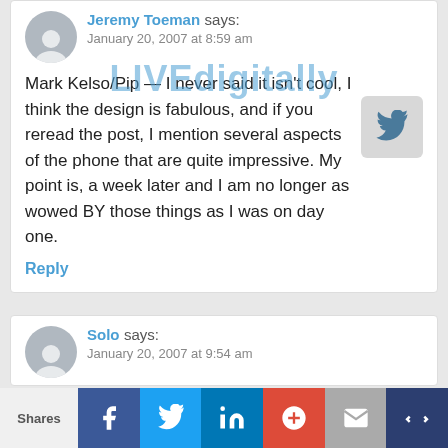Jeremy Toeman says: January 20, 2007 at 8:59 am
Mark Kelso/Pip — I never said it isn't cool, I think the design is fabulous, and if you reread the post, I mention several aspects of the phone that are quite impressive. My point is, a week later and I am no longer as wowed BY those things as I was on day one.
Reply
[Figure (logo): LIVEdigitally watermark overlay]
[Figure (screenshot): Twitter share button]
Solo says: January 20, 2007 at 9:54 am
You have done a good job of summarizing the voice of the collective hive-mind to date. (Compliment, not a snark.)
Of course, this is like critiquing your online
Shares | Facebook | Twitter | LinkedIn | Google+ | Email | Crown